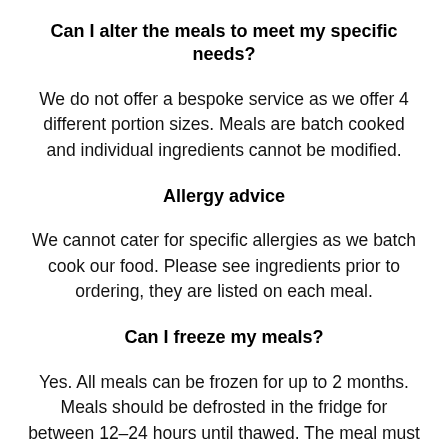Can I alter the meals to meet my specific needs?
We do not offer a bespoke service as we offer 4 different portion sizes. Meals are batch cooked and individual ingredients cannot be modified.
Allergy advice
We cannot cater for specific allergies as we batch cook our food. Please see ingredients prior to ordering, they are listed on each meal.
Can I freeze my meals?
Yes. All meals can be frozen for up to 2 months. Meals should be defrosted in the fridge for between 12–24 hours until thawed. The meal must